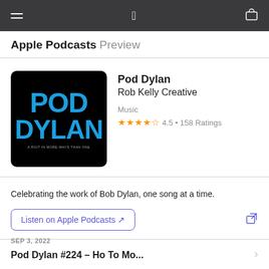Apple Podcasts Preview
[Figure (illustration): Pod Dylan podcast artwork: black background with cyan/blue bold text reading POD on top and DYLAN below, with tagline 'A RIOT IN MORE WAYS THAN ONE']
Pod Dylan
Rob Kelly Creative
Music
4.5 • 158 Ratings
Celebrating the work of Bob Dylan, one song at a time.
Listen on Apple Podcasts ↗
SEP 3, 2022
Pod Dylan #224 – Ho To Mo...